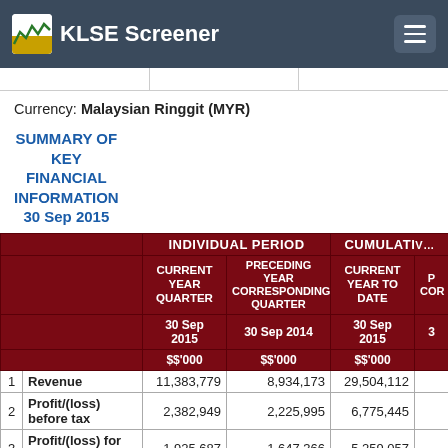KLSE Screener
Currency: Malaysian Ringgit (MYR)
SUMMARY OF KEY FINANCIAL INFORMATION 30 Sep 2015
|  |  | INDIVIDUAL PERIOD |  | CUMULATIVE |  |
| --- | --- | --- | --- | --- | --- |
|  |  | CURRENT YEAR QUARTER | PRECEDING YEAR CORRESPONDING QUARTER | CURRENT YEAR TO DATE | P COR |
|  |  | 30 Sep 2015 | 30 Sep 2014 | 30 Sep 2015 | 3 |
|  |  | $$'000 | $$'000 | $$'000 |  |
| 1 | Revenue | 11,383,779 | 8,934,173 | 29,504,112 |  |
| 2 | Profit/(loss) before tax | 2,382,949 | 2,225,995 | 6,775,445 |  |
| 3 | Profit/(loss) for the | 1,925,687 | 1,647,366 | 5,259,057 |  |